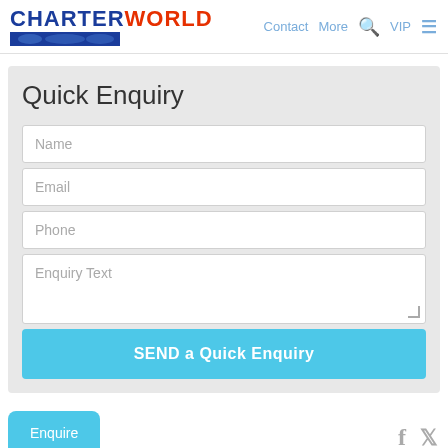CHARTERWORLD Contact More VIP
Quick Enquiry
Name
Email
Phone
Enquiry Text
SEND a Quick Enquiry
Enquire